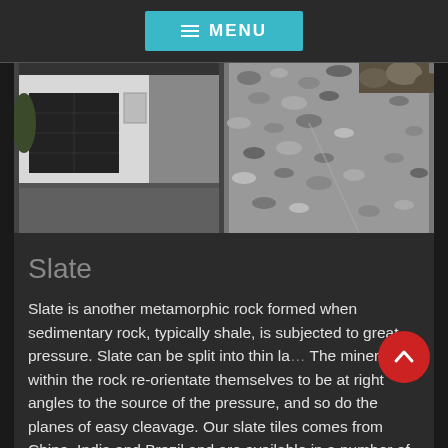MENU
[Figure (photo): Two side-by-side photos: left shows a residential garage with dark doors and a smooth concrete/resin driveway; right shows a close-up of a gravel or slate chip surface.]
Slate
Slate is another metamorphic rock formed when sedimentary rock, typically shale, is subjected to great pressure. Slate can be split into thin la... The minerals within the rock re-orientate themselves to be at right angles to the source of the pressure, and so do the planes of easy cleavage. Our slate tiles comes from China, India and Brazil and are available in a number of